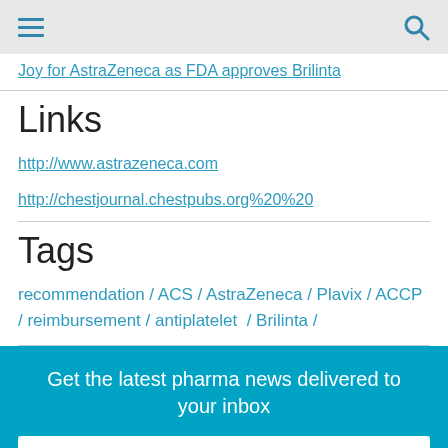Joy for AstraZeneca as FDA approves Brilinta
Links
http://www.astrazeneca.com
http://chestjournal.chestpubs.org%20%20
Tags
recommendation / ACS / AstraZeneca / Plavix / ACCP / reimbursement / antiplatelet  / Brilinta /
Get the latest pharma news delivered to your inbox